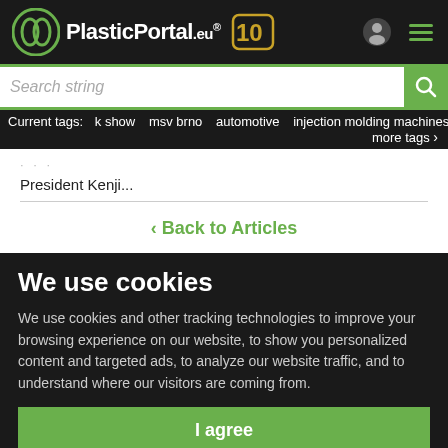PlasticPortal.eu® 10
Search string
Current tags: k show  msv brno  automotive  injection molding machines  p  more tags >
President Kenji...
< Back to Articles
We use cookies
We use cookies and other tracking technologies to improve your browsing experience on our website, to show you personalized content and targeted ads, to analyze our website traffic, and to understand where our visitors are coming from.
I agree